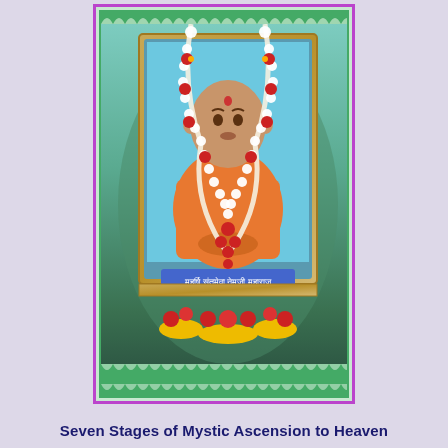[Figure (photo): A framed portrait of a spiritual figure (a male saint/guru wearing orange robes, seated) decorated with white and red flower garlands (mala). The frame has ornate carvings. Below the portrait is a nameplate with Hindi/Devanagari text reading 'Maharishi Santmeva Nemaji Maharaj'. Yellow and red flower offerings are placed at the base. The portrait is set against a teal/green decorative backdrop with scallop patterns on a purple and green border.]
Seven Stages of Mystic Ascension to Heaven